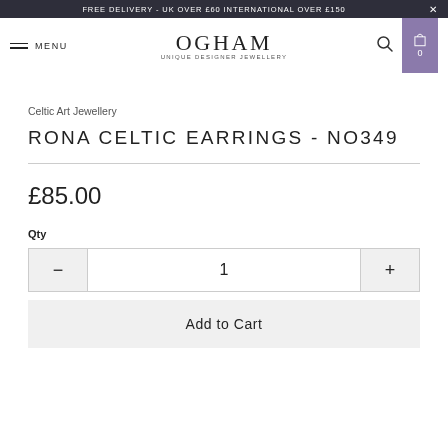FREE DELIVERY - UK OVER £60 INTERNATIONAL OVER £150
OGHAM Unique Designer Jewellery — MENU — Search — Cart 0
Celtic Art Jewellery
RONA CELTIC EARRINGS - NO349
£85.00
Qty
1
Add to Cart